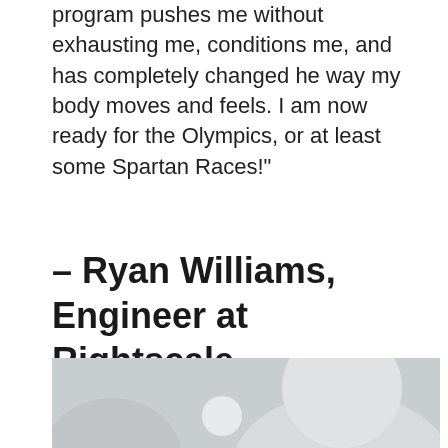program pushes me without exhausting me, conditions me, and has completely changed he way my body moves and feels. I am now ready for the Olympics, or at least some Spartan Races!"
– Ryan Williams, Engineer at Rightscale
[Figure (photo): A placeholder image with light grey background and silhouette shapes suggesting a person or avatar, partially visible at the bottom of the page.]